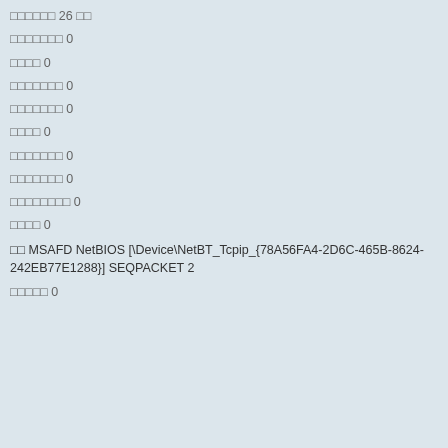□□□□□□ 26 □□
□□□□□□□ 0
□□□□ 0
□□□□□□□ 0
□□□□□□□ 0
□□□□ 0
□□□□□□□ 0
□□□□□□□ 0
□□□□□□□□ 0
□□□□ 0
□□ MSAFD NetBIOS [\Device\NetBT_Tcpip_{78A56FA4-2D6C-465B-8624-242EB77E1288}] SEQPACKET 2
□□□□□ 0